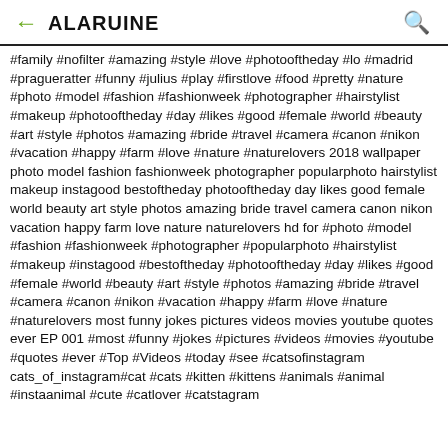ALARUINE
#family #nofilter #amazing #style #love #photooftheday #lo #madrid #pragueratter #funny #julius #play #firstlove #food #pretty #nature #photo #model #fashion #fashionweek #photographer #hairstylist #makeup #photooftheday #day #likes #good #female #world #beauty #art #style #photos #amazing #bride #travel #camera #canon #nikon #vacation #happy #farm #love #nature #naturelovers 2018 wallpaper photo model fashion fashionweek photographer popularphoto hairstylist makeup instagood bestoftheday photooftheday day likes good female world beauty art style photos amazing bride travel camera canon nikon vacation happy farm love nature naturelovers hd for #photo #model #fashion #fashionweek #photographer #popularphoto #hairstylist #makeup #instagood #bestoftheday #photooftheday #day #likes #good #female #world #beauty #art #style #photos #amazing #bride #travel #camera #canon #nikon #vacation #happy #farm #love #nature #naturelovers most funny jokes pictures videos movies youtube quotes ever EP 001 #most #funny #jokes #pictures #videos #movies #youtube #quotes #ever #Top #Videos #today #see #catsofinstagram cats_of_instagram#cat #cats #kitten #kittens #animals #animal #instaanimal #cute #catlover #catstagram